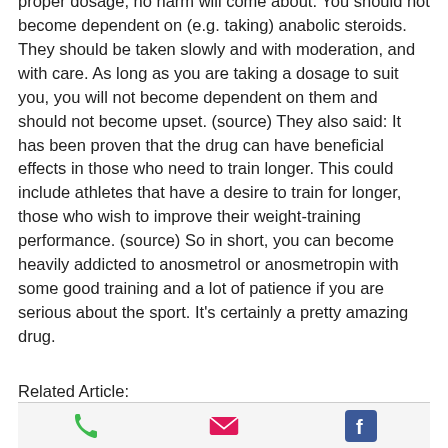proper dosage, no harm will come about. You should not become dependent on (e.g. taking) anabolic steroids. They should be taken slowly and with moderation, and with care. As long as you are taking a dosage to suit you, you will not become dependent on them and should not become upset. (source) They also said: It has been proven that the drug can have beneficial effects in those who need to train longer. This could include athletes that have a desire to train for longer, those who wish to improve their weight-training performance. (source) So in short, you can become heavily addicted to anosmetrol or anosmetropin with some good training and a lot of patience if you are serious about the sport. It's certainly a pretty amazing drug.
Related Article:
[Figure (other): Social sharing icons: phone (green), email/envelope (pink/magenta), Facebook (blue)]